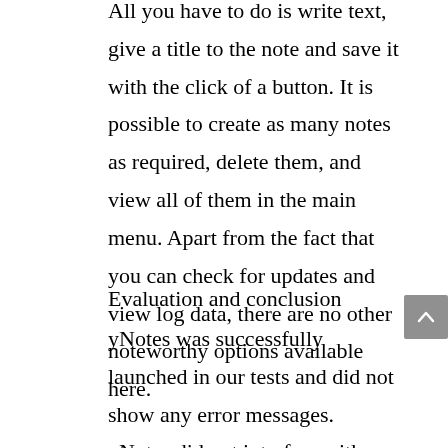All you have to do is write text, give a title to the note and save it with the click of a button. It is possible to create as many notes as required, delete them, and view all of them in the main menu. Apart from the fact that you can check for updates and view log data, there are no other noteworthy options available here.
Evaluation and conclusion
yNotes was successfully launched in our tests and did not show any error messages. yNotes did not interfere with computer performance, using low CPU and RAM. Since it is a notepad application, yNotes will be especially suited for note-takers.